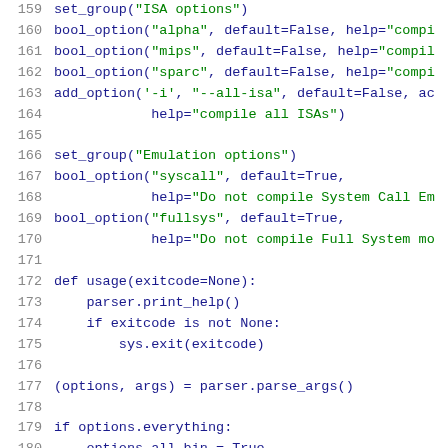Source code listing lines 159-180, Python script with ISA options, Emulation options, usage function, and parser code.